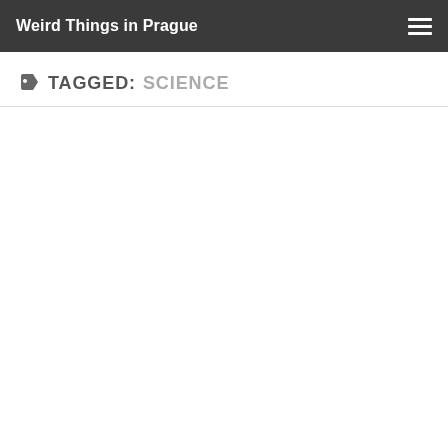Weird Things in Prague
TAGGED: SCIENCE